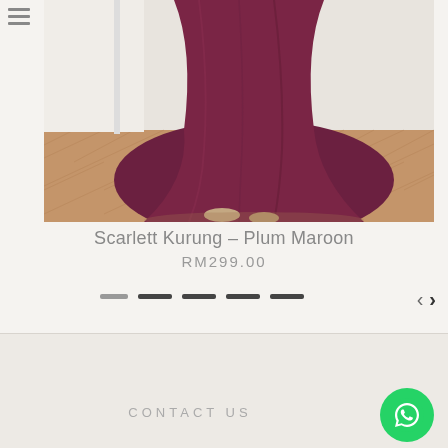[Figure (photo): Bottom portion of a model wearing a long plum maroon dress (Scarlett Kurung) on a herringbone wood floor, with a white wall/door visible on the left.]
Scarlett Kurung – Plum Maroon
RM299.00
[Figure (other): Carousel navigation dots (5 dashes) and left/right arrow navigation controls]
CONTACT US
[Figure (other): WhatsApp contact button (green circle with phone/chat icon)]